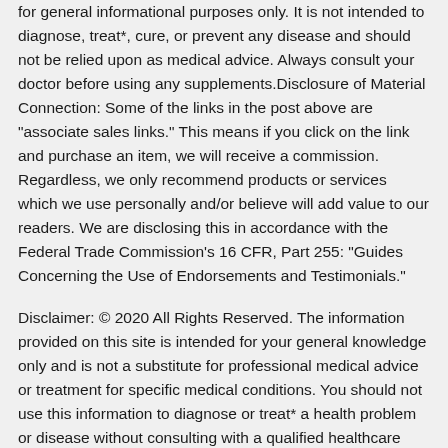for general informational purposes only. It is not intended to diagnose, treat*, cure, or prevent any disease and should not be relied upon as medical advice. Always consult your doctor before using any supplements.Disclosure of Material Connection: Some of the links in the post above are "associate sales links." This means if you click on the link and purchase an item, we will receive a commission. Regardless, we only recommend products or services which we use personally and/or believe will add value to our readers. We are disclosing this in accordance with the Federal Trade Commission's 16 CFR, Part 255: "Guides Concerning the Use of Endorsements and Testimonials."
Disclaimer: © 2020 All Rights Reserved. The information provided on this site is intended for your general knowledge only and is not a substitute for professional medical advice or treatment for specific medical conditions. You should not use this information to diagnose or treat* a health problem or disease without consulting with a qualified healthcare provider. Please consult your healthcare provider with any questions or concerns you may have regarding your condition.Your use of this website indicates your agreement to this websites published terms of use and all site policies. All trademarks, registered